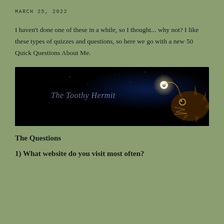MARCH 25, 2022
I haven't done one of these in a while, so I thought... why not?  I like these types of quizzes and questions, so here we go with a new 50 Quick Questions About Me.
[Figure (illustration): Dark banner image with anglerfish creature on the right side with a glowing lure, and italic text 'The Toothy Hermit' on the left, on a black background.]
The Questions
1) What website do you visit most often?